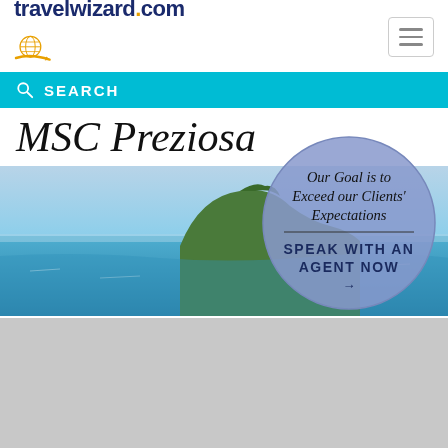travelwizard.com
SEARCH
MSC Preziosa
[Figure (photo): Scenic coastal photo showing a rocky Mediterranean island and blue sea waters, used as a banner image for MSC Preziosa cruise ship page]
[Figure (infographic): Circular blue badge with italic text 'Our Goal is to Exceed our Clients' Expectations' and bold text 'SPEAK WITH AN AGENT NOW' with an arrow]
[Figure (photo): Grey placeholder image block below the coastal photo]